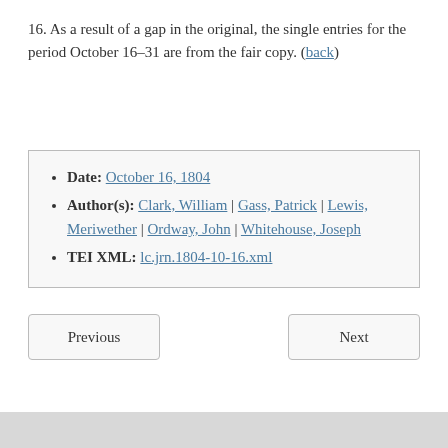16. As a result of a gap in the original, the single entries for the period October 16–31 are from the fair copy. (back)
Date: October 16, 1804
Author(s): Clark, William | Gass, Patrick | Lewis, Meriwether | Ordway, John | Whitehouse, Joseph
TEI XML: lc.jrn.1804-10-16.xml
Previous | Next